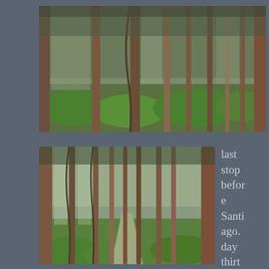[Figure (photo): Forest interior showing tall slender tree trunks with green undergrowth, viewed from ground level looking through the trees.]
[Figure (photo): Forest interior showing tall slender tree trunks with green undergrowth and a path visible in the distance, similar forest scene.]
last stop before Santiago. day thirty-